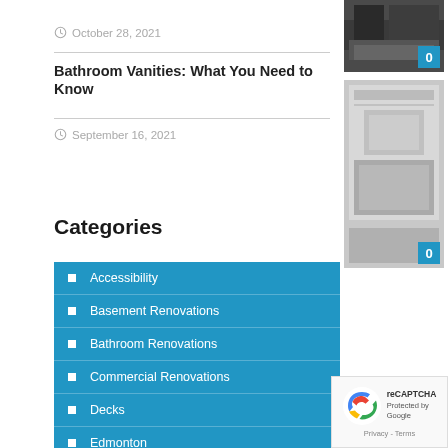October 28, 2021
Bathroom Vanities: What You Need to Know
September 16, 2021
[Figure (photo): Kitchen or bathroom dark cabinetry photo thumbnail with badge showing 0]
[Figure (photo): Bathroom vanity or countertop overhead view photo thumbnail with badge showing 0]
Categories
Accessibility
Basement Renovations
Bathroom Renovations
Commercial Renovations
Decks
Edmonton
Exterior
[Figure (other): Google reCAPTCHA badge with Privacy - Terms text]